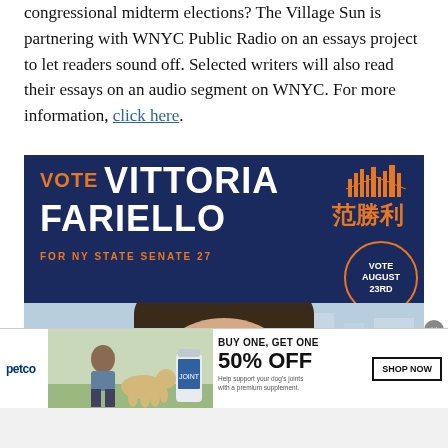congressional midterm elections? The Village Sun is partnering with WNYC Public Radio on an essays project to let readers sound off. Selected writers will also read their essays on an audio segment on WNYC. For more information, click here.
[Figure (other): Political campaign advertisement for Vittoria Fariello for NY State Senate 27. Dark navy blue background with orange and white text reading VOTE VITTORIA FARIELLO FOR NY STATE SENATE 27. Chinese characters 范勝利. Orange NYC skyline graphic. Circle badge reading VOTE AUGUST 23rd. Photo of a woman's face below.]
[Figure (other): Petco advertisement: BUY ONE, GET ONE 50% OFF. Help support your dog's joints with a premium supplement. SHOP NOW button. Images of a woman with a dog and a supplement bottle.]